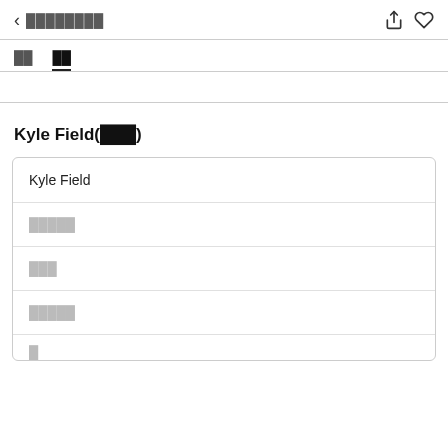< ████████  (icons: share, heart)
██  ██
Kyle Field(███)
| Kyle Field |
| █████ |
| ███ |
| █████ |
| █ |